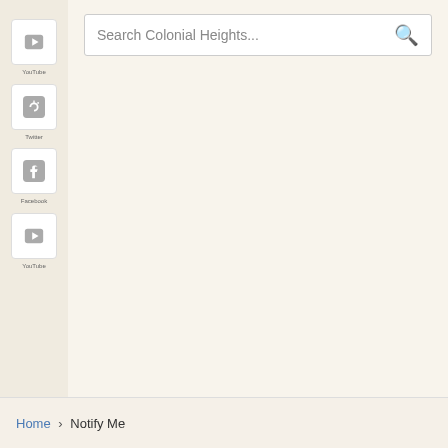[Figure (screenshot): Search bar with placeholder text 'Search Colonial Heights...' and a magnifying glass icon on the right]
[Figure (screenshot): Left sidebar with four social media/navigation icon buttons (YouTube, Twitter, Facebook, YouTube/other) each with small labels]
Home › Notify Me